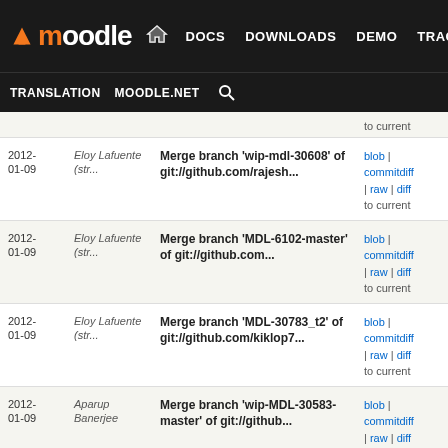Moodle | DOCS | DOWNLOADS | DEMO | TRACKER | DEV | TRANSLATION | MOODLE.NET
| Date | Author | Message | Links |
| --- | --- | --- | --- |
| 2012-01-09 | Eloy Lafuente (str... | Merge branch 'wip-mdl-30608' of git://github.com/rajesh... | blob | commitdiff | raw | diff to current |
| 2012-01-09 | Eloy Lafuente (str... | Merge branch 'MDL-6102-master' of git://github.com... | blob | commitdiff | raw | diff to current |
| 2012-01-09 | Eloy Lafuente (str... | Merge branch 'MDL-30783_t2' of git://github.com/kiklop7... | blob | commitdiff | raw | diff to current |
| 2012-01-09 | Aparup Banerjee | Merge branch 'wip-MDL-30583-master' of git://github... | blob | commitdiff | raw | diff to current |
| 2012-01-09 | Eloy Lafuente (str... | Merge branch 'MDL-30031' of git://github.com/bostelm... | blob | commitdiff | raw | diff to current |
| 2012-01-08 | Eloy Lafuente (str... | Merge branch 'MDL-30778_t2' of git://github.com/kiklop7... | blob | commitdiff | raw | diff to current |
| 2012-01-08 | Sam Hemelryk | Merge branch 'MDL-30652-master' of git://github.com... | blob | commitdiff | raw | diff to current |
| 2012-01-08 | Sam Hemelryk | Merge branch 'MDL-31000-master-1' of git://github... | blob | commitdiff |